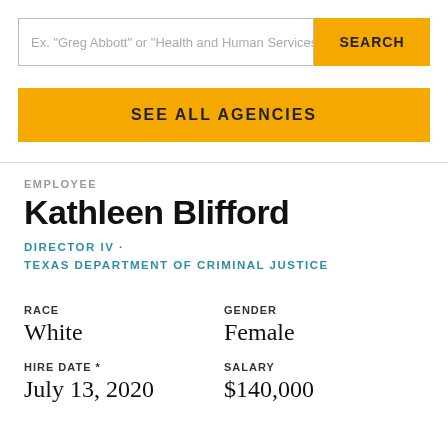Ex. "Greg Abbott" or "Health and Human Services C…
SEARCH
SEE ALL AGENCIES
EMPLOYEE
Kathleen Blifford
DIRECTOR IV · TEXAS DEPARTMENT OF CRIMINAL JUSTICE
RACE
White
GENDER
Female
HIRE DATE *
July 13, 2020
SALARY
$140,000